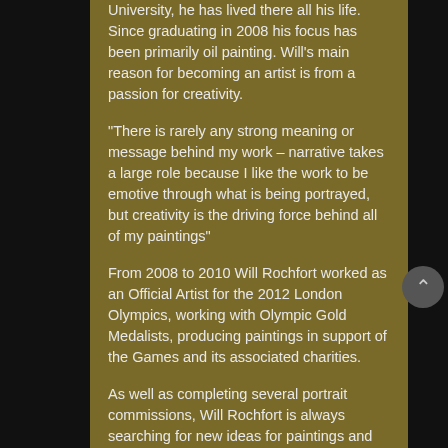University, he has lived there all his life. Since graduating in 2008 his focus has been primarily oil painting. Will's main reason for becoming an artist is from a passion for creativity.
“There is rarely any strong meaning or message behind my work – narrative takes a large role because I like the work to be emotive through what is being portrayed, but creativity is the driving force behind all of my paintings”
From 2008 to 2010 Will Rochfort worked as an Official Artist for the 2012 London Olympics, working with Olympic Gold Medalists, producing paintings in support of the Games and its associated charities.
As well as completing several portrait commissions, Will Rochfort is always searching for new ideas for paintings and usually finds this in books or cinema. With